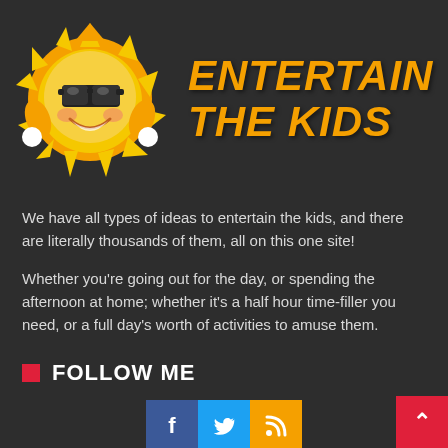[Figure (logo): Cartoon sun character with sunglasses and flames next to bold italic orange text 'ENTERTAIN THE KIDS']
We have all types of ideas to entertain the kids, and there are literally thousands of them, all on this one site!
Whether you're going out for the day, or spending the afternoon at home; whether it's a half hour time-filler you need, or a full day's worth of activities to amuse them.
FOLLOW ME